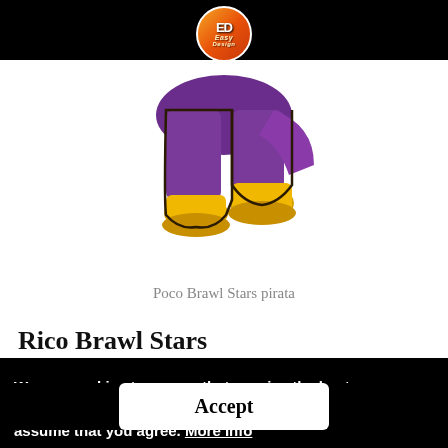[Figure (logo): ED Easy Design logo — orange circular badge with stylized 'ED' text and 'Easy Design' script text]
[Figure (illustration): Poco Brawl Stars pirata character illustration showing legs/lower body of a pirate character with purple outfit and yellow boots]
Poco Brawl Stars pirata
Rico Brawl Stars
We use cookies to ensure that we give the best user experience on our website. Your continued use of this site assume that you agree. More Info
Accept